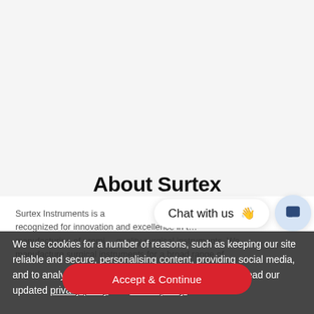About Surtex
Surtex Instruments is a company recognized for innovation and excellence in the manufacturing of premium quality surgical instruments. We manufacture surgical instruments for a broad range of … sing only.
[Figure (screenshot): Chat with us widget bubble showing 'Chat with us' text with a waving hand emoji and a dark blue speech bubble icon in a light blue circle]
We use cookies for a number of reasons, such as keeping our site reliable and secure, personalising content, providing social media, and to analyze how our site is used. To find out more, read our updated privacy policy and cookie policy.
Accept & Continue